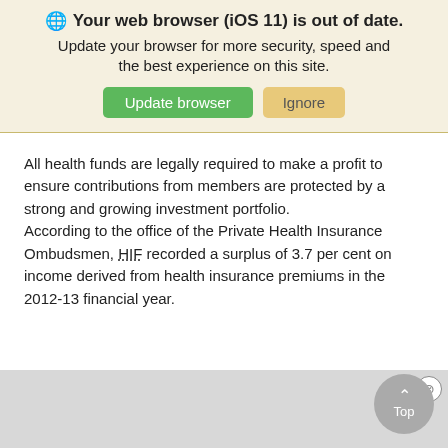Your web browser (iOS 11) is out of date. Update your browser for more security, speed and the best experience on this site.
All health funds are legally required to make a profit to ensure contributions from members are protected by a strong and growing investment portfolio.
According to the office of the Private Health Insurance Ombudsmen, HIF recorded a surplus of 3.7 per cent on income derived from health insurance premiums in the 2012-13 financial year.
[Figure (screenshot): Gray placeholder area with close button (X) and a 'Top' scroll button in the bottom right]